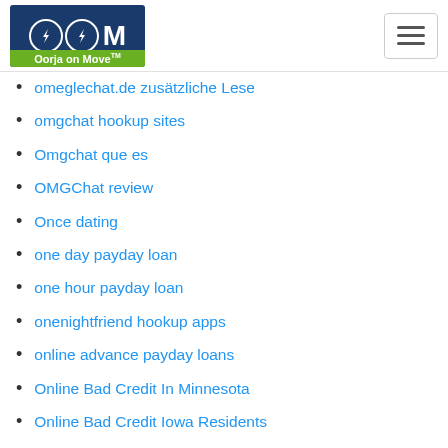Oorja on Move
omeglechat.de zusätzliche Lese
omgchat hookup sites
Omgchat que es
OMGChat review
Once dating
one day payday loan
one hour payday loan
onenightfriend hookup apps
online advance payday loans
Online Bad Credit In Minnesota
Online Bad Credit Iowa Residents
Online Bad Credit Kentucky No Credit Check
Online Bad Credit Loans In Tennessee
Online Bad Credit Loans Wisconsin Direct Lenders
Online Bad Credit New Mexico
Online Bad Credit Or